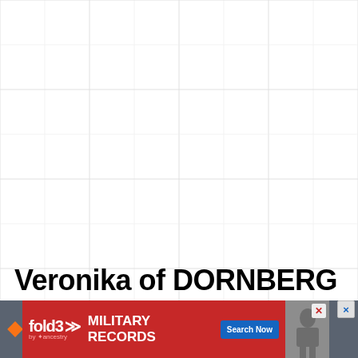[Figure (screenshot): Grid/table background with light gray cell borders covering the upper portion of the page]
Veronika of DORNBERG
[Figure (screenshot): Advertisement banner for fold3 by Ancestry - Military Records, Search Now button, with a vintage military photo]